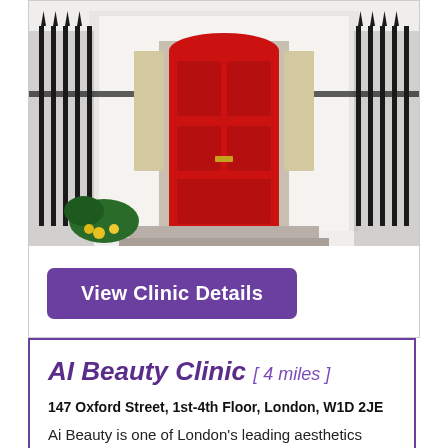[Figure (photo): Front entrance of a London clinic building with a red door, black iron railings, and yellow flowers]
View Clinic Details
AI Beauty Clinic [ 4 miles ]
147 Oxford Street, 1st-4th Floor, London, W1D 2JE
Ai Beauty is one of London's leading aesthetics clinic specialising in cosmetic injections and microblading. We are located in Oxford Street, London. Since founded, we have served more than 8000 clients and have become one of London's most renowned cosmetic injections and microblading clinic.